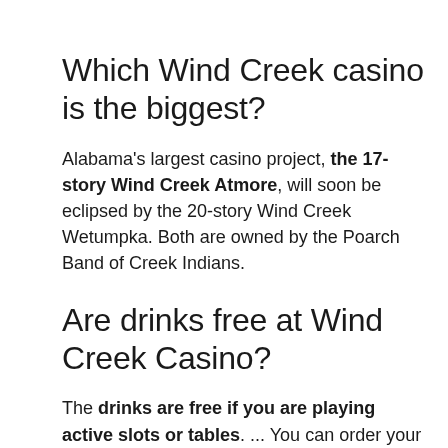Which Wind Creek casino is the biggest?
Alabama's largest casino project, the 17-story Wind Creek Atmore, will soon be eclipsed by the 20-story Wind Creek Wetumpka. Both are owned by the Poarch Band of Creek Indians.
Are drinks free at Wind Creek Casino?
The drinks are free if you are playing active slots or tables. ... You can order your drinks right on the slot machine.